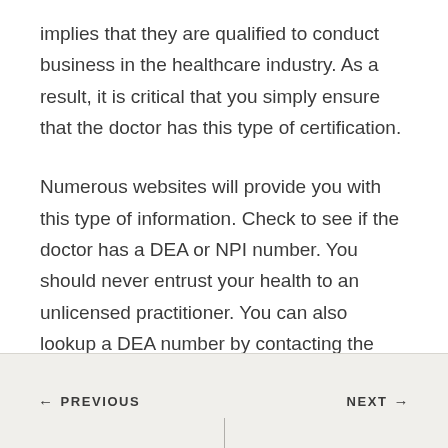implies that they are qualified to conduct business in the healthcare industry. As a result, it is critical that you simply ensure that the doctor has this type of certification.
Numerous websites will provide you with this type of information. Check to see if the doctor has a DEA or NPI number. You should never entrust your health to an unlicensed practitioner. You can also lookup a DEA number by contacting the DEA office directly.
← PREVIOUS    NEXT →